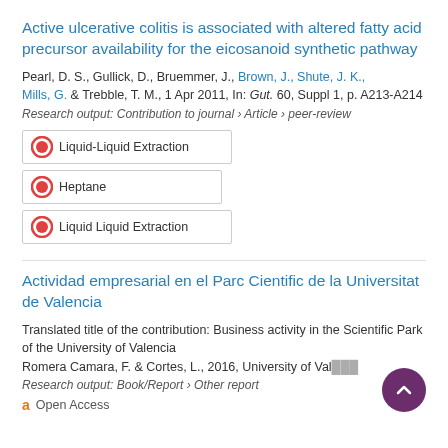Active ulcerative colitis is associated with altered fatty acid precursor availability for the eicosanoid synthetic pathway
Pearl, D. S., Gullick, D., Bruemmer, J., Brown, J., Shute, J. K., Mills, G. & Trebble, T. M., 1 Apr 2011, In: Gut. 60, Suppl 1, p. A213-A214
Research output: Contribution to journal › Article › peer-review
Liquid-Liquid Extraction | Heptane | Liquid Liquid Extraction
Actividad empresarial en el Parc Cientific de la Universitat de Valencia
Translated title of the contribution: Business activity in the Scientific Park of the University of Valencia
Romera Camara, F. & Cortes, L., 2016, University of Val...
Research output: Book/Report › Other report
Open Access